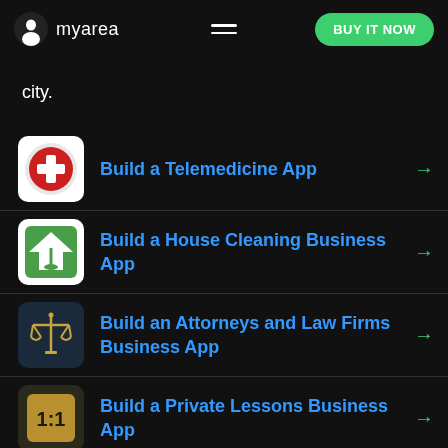myarea | BUY IT NOW
city.
Build a Telemedicine App
Build a House Cleaning Business App
Build an Attorneys and Law Firms Business App
Build a Private Lessons Business App
Build a Spa Salons Business App